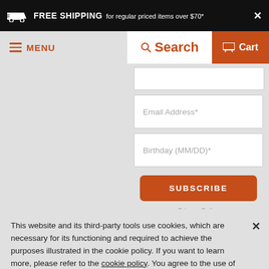FREE SHIPPING for regular priced items over $70*
MENU
Search
Cart
Email Address*
Birthday (MM/DD)*
SUBSCRIBE
Privacy Policy
This website and its third-party tools use cookies, which are necessary for its functioning and required to achieve the purposes illustrated in the cookie policy. If you want to learn more, please refer to the cookie policy. You agree to the use of cookies by closing or dismissing this banner, clicking a link or continuing to browse otherwise.